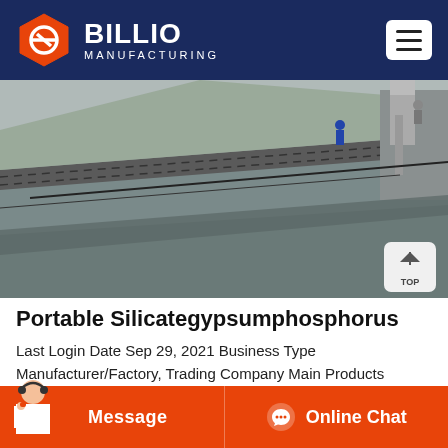[Figure (logo): Billio Manufacturing logo with orange hexagon and white text on dark navy header]
[Figure (photo): Aerial view of industrial quarry/mining conveyor belt facility with stone crushers]
Portable Silicategypsumphosphorus
Last Login Date Sep 29, 2021 Business Type Manufacturer/Factory, Trading Company Main Products Impact Crusher/Jaw Crusher / Cone Crusher, Rock Crusher/Stone Crusher/Hammer Crusher, Mobile Crusher/Mobile Jaw Crusher, Mobile Cone Crusher /Mobile Impact
[Figure (screenshot): Bottom bar with Message and Online Chat buttons on orange background, with customer service person illustration]